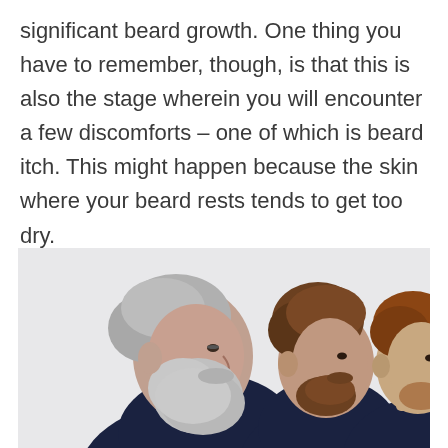significant beard growth. One thing you have to remember, though, is that this is also the stage wherein you will encounter a few discomforts – one of which is beard itch. This might happen because the skin where your beard rests tends to get too dry.
[Figure (photo): Three men of different ages shown in profile/side view facing right, each wearing dark turtleneck tops. Leftmost man is older with silver/grey hair and a full grey beard. Middle man has brown hair and a short beard. Rightmost man has reddish-brown hair and minimal beard. Background is light grey/white.]